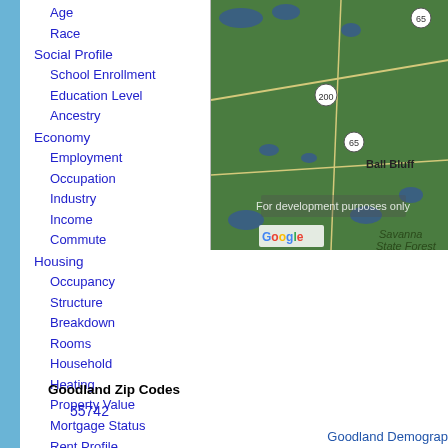Age
Race
Social Profile
School Enrollment
Education Level
Ancestry
Economy
Employment
Occupation
Industry
Income
Commute
Housing
Occupancy
Structure
Breakdown
Rooms
Household
Heating
Property Value
Mortgage Status
Rent Profile
Vehicle Usage
Goodland Zip Codes
55742
[Figure (map): Google Maps aerial/satellite view showing Ball Bluff area near Savanna State Forest with route markers 65 and 200. Watermark reads 'For development purposes only'.]
Goodland Demograp